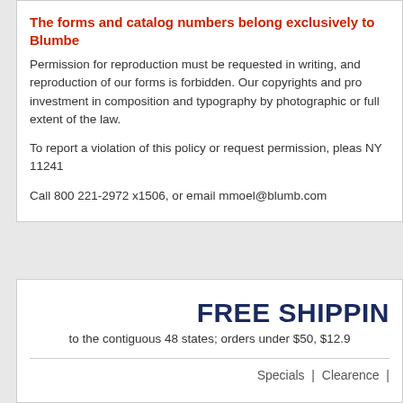The forms and catalog numbers belong exclusively to Blumbe
Permission for reproduction must be requested in writing, and reproduction of our forms is forbidden. Our copyrights and pro investment in composition and typography by photographic or full extent of the law.
To report a violation of this policy or request permission, pleas NY 11241
Call 800 221-2972 x1506, or email mmoel@blumb.com
FREE SHIPPING
to the contiguous 48 states; orders under $50, $12.9
Specials  |  Clearence  |